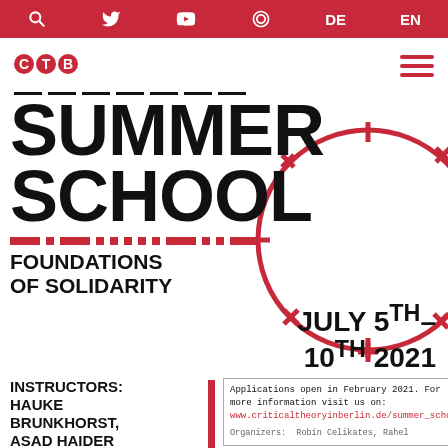Navigation bar with search, Twitter, YouTube, Cosmonaut, DE, EN
[Figure (logo): CTB logo with three red circles containing letters C, T, B]
SUMMER SCHOOL
FOUNDATIONS OF SOLIDARITY
JULY 5TH– 10TH 2021
INSTRUCTORS: HAUKE BRUNKHORST, ASAD HAIDER
Applications open in February 2021. For more information visit us on: www.criticaltheoryinberlin.de/summer_school
Organizers: Robin Celikates, Rahel